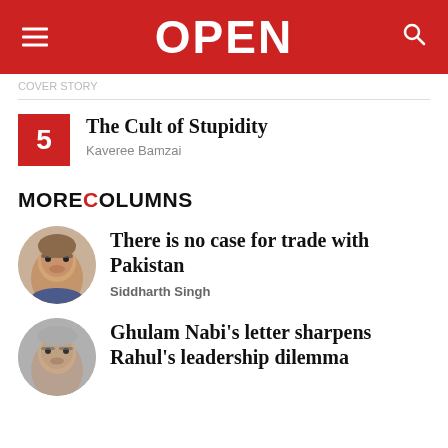OPEN
The Cult of Stupidity
Kaveree Bamzai
MORE COLUMNS
There is no case for trade with Pakistan
Siddharth Singh
Ghulam Nabi's letter sharpens Rahul's leadership dilemma